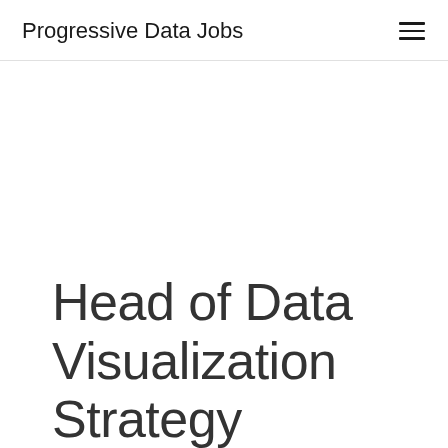Progressive Data Jobs
Head of Data Visualization Strategy